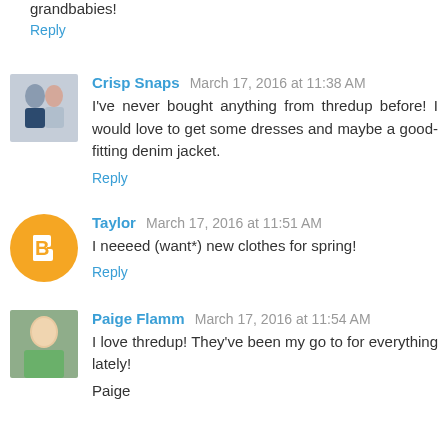grandbabies!
Reply
Crisp Snaps March 17, 2016 at 11:38 AM
I've never bought anything from thredup before! I would love to get some dresses and maybe a good-fitting denim jacket.
Reply
Taylor March 17, 2016 at 11:51 AM
I neeeed (want*) new clothes for spring!
Reply
Paige Flamm March 17, 2016 at 11:54 AM
I love thredup! They've been my go to for everything lately!
Paige